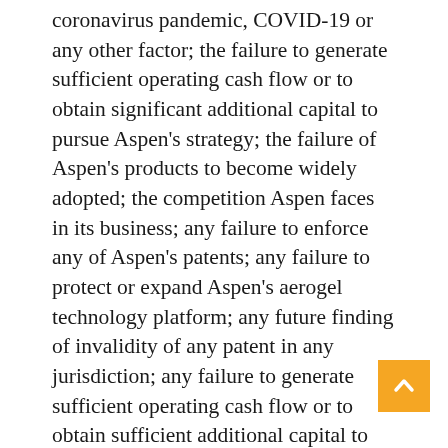coronavirus pandemic, COVID-19 or any other factor; the failure to generate sufficient operating cash flow or to obtain significant additional capital to pursue Aspen's strategy; the failure of Aspen's products to become widely adopted; the competition Aspen faces in its business; any failure to enforce any of Aspen's patents; any failure to protect or expand Aspen's aerogel technology platform; any future finding of invalidity of any patent in any jurisdiction; any failure to generate sufficient operating cash flow or to obtain sufficient additional capital to continue to pursue Aspen's new business, technology, patent enforcement, or patent defense strategy; any failure of Aspen's products to meet applicable specifications and other performance, safety, technical and delivery requirements; the general economic conditions and